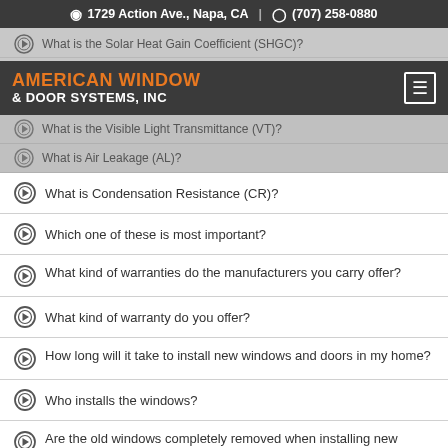1729 Action Ave., Napa, CA  |  (707) 258-0880
AMERICAN WINDOW & DOOR SYSTEMS, INC
What is the Solar Heat Gain Coefficient (SHGC)?
What is the Visible Light Transmittance (VT)?
What is Air Leakage (AL)?
What is Condensation Resistance (CR)?
Which one of these is most important?
What kind of warranties do the manufacturers you carry offer?
What kind of warranty do you offer?
How long will it take to install new windows and doors in my home?
Who installs the windows?
Are the old windows completely removed when installing new replacement windows?